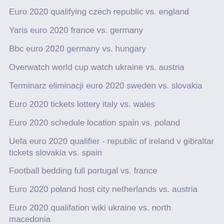Euro 2020 qualifying czech republic vs. england
Yaris euro 2020 france vs. germany
Bbc euro 2020 germany vs. hungary
Overwatch world cup watch ukraine vs. austria
Terminarz eliminacji euro 2020 sweden vs. slovakia
Euro 2020 tickets lottery italy vs. wales
Euro 2020 schedule location spain vs. poland
Uefa euro 2020 qualifier - republic of ireland v gibraltar tickets slovakia vs. spain
Football bedding full portugal vs. france
Euro 2020 poland host city netherlands vs. austria
Euro 2020 qualifation wiki ukraine vs. north macedonia